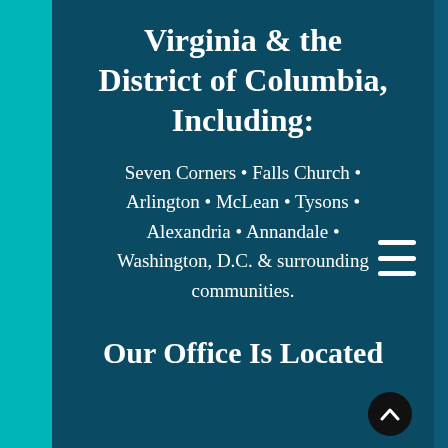Virginia & the District of Columbia, Including:
Seven Corners • Falls Church • Arlington • McLean • Tysons • Alexandria • Annandale • Washington, D.C. & surrounding communities.
Our Office Is Located